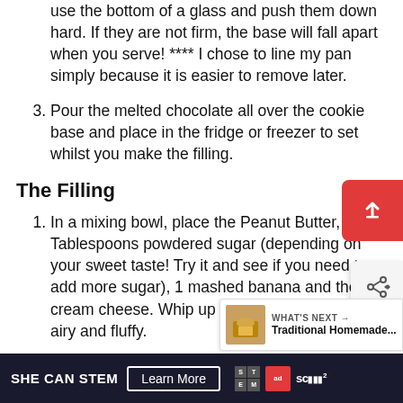use the bottom of a glass and push them down hard. If they are not firm, the base will fall apart when you serve! **** I chose to line my pan simply because it is easier to remove later.
3. Pour the melted chocolate all over the cookie base and place in the fridge or freezer to set whilst you make the filling.
The Filling
1. In a mixing bowl, place the Peanut Butter, 2 -3 Tablespoons powdered sugar (depending on your sweet taste! Try it and see if you need to add more sugar), 1 mashed banana and the cream cheese. Whip up until all combined and airy and fluffy.
2. Add the banana slices and broken...
SHE CAN STEM  Learn More